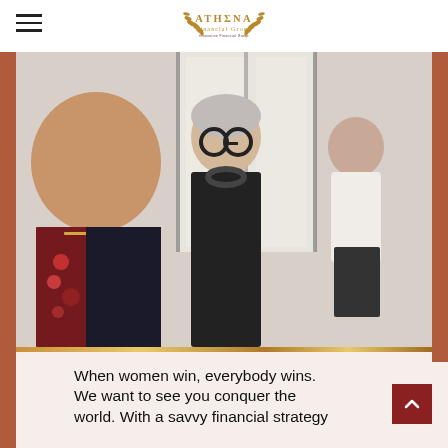ATHENA Financial Group
[Figure (photo): Three women smiling and standing in a bright interior space. Woman in foreground wearing colorful patterned jacket, middle woman with white hair and large round glasses wearing a black striped outfit, third woman in white top and black skirt in background.]
When women win, everybody wins. We want to see you conquer the world. With a savvy financial strategy